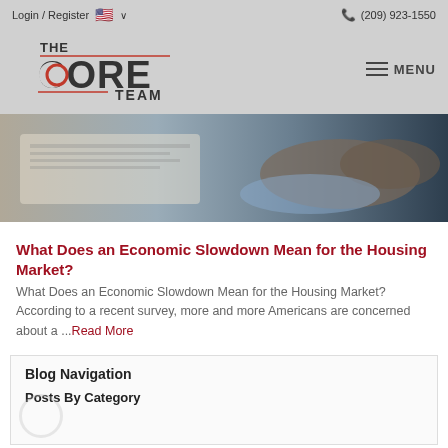Login / Register   🇺🇸 ∨   📞 (209) 923-1550
[Figure (logo): The Core Team logo with red crescent and horizontal lines]
[Figure (photo): Person reviewing documents at a desk, close-up of hands and papers]
What Does an Economic Slowdown Mean for the Housing Market?
What Does an Economic Slowdown Mean for the Housing Market? According to a recent survey, more and more Americans are concerned about a ...Read More